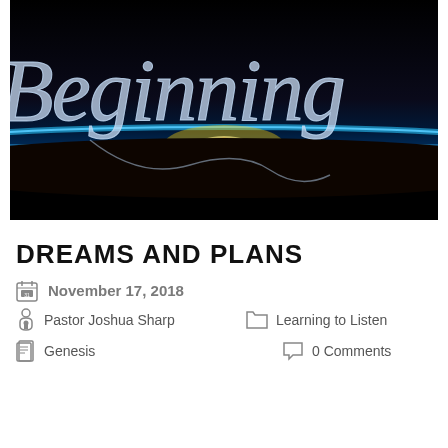[Figure (illustration): Dark space/horizon image with sun rising over Earth's atmosphere, with cursive text 'Beginning' overlaid in light blue script]
DREAMS AND PLANS
November 17, 2018
Pastor Joshua Sharp    Learning to Listen
Genesis    0 Comments